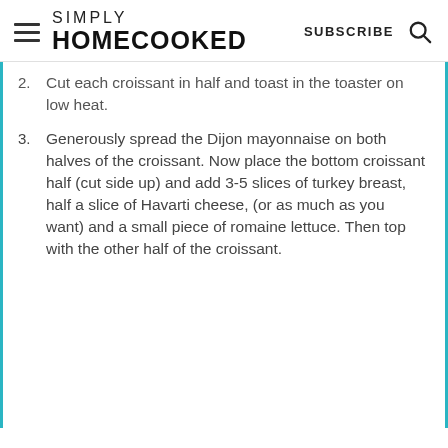SIMPLY HOMECOOKED | SUBSCRIBE
2. Cut each croissant in half and toast in the toaster on low heat.
3. Generously spread the Dijon mayonnaise on both halves of the croissant. Now place the bottom croissant half (cut side up) and add 3-5 slices of turkey breast, half a slice of Havarti cheese, (or as much as you want) and a small piece of romaine lettuce. Then top with the other half of the croissant.